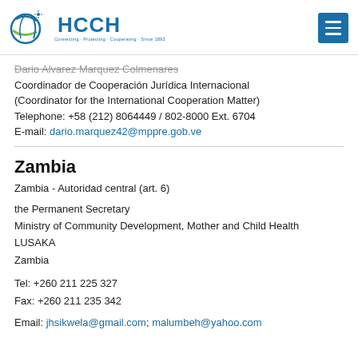HCCH
Dario Alvarez Marquez Colmenares
Coordinador de Cooperación Jurídica Internacional
(Coordinator for the International Cooperation Matter)
Telephone: +58 (212) 8064449 / 802-8000 Ext. 6704
E-mail: dario.marquez42@mppre.gob.ve
Zambia
Zambia - Autoridad central (art. 6)
the Permanent Secretary
Ministry of Community Development, Mother and Child Health
LUSAKA
Zambia
Tel: +260 211 225 327
Fax: +260 211 235 342
Email: jhsikwela@gmail.com; malumbeh@yahoo.com